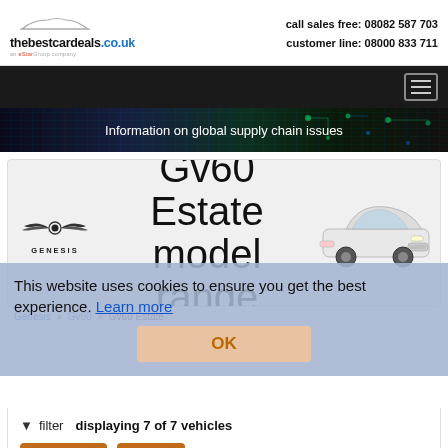thebestcardeals.co.uk | call sales free: 08082 587 703 | customer line: 08000 833 711
Information on global supply chain issues
Gv60 Estate model range
[Figure (logo): Genesis brand logo with wings emblem and GENESIS text]
[Figure (photo): White Genesis GV60 electric SUV estate car]
Genesis » Gv60 » Gv60 Estate
This website uses cookies to ensure you get the best experience. Learn more
OK
filter  displaying 7 of 7 vehicles
Alt. Fuel
Auto